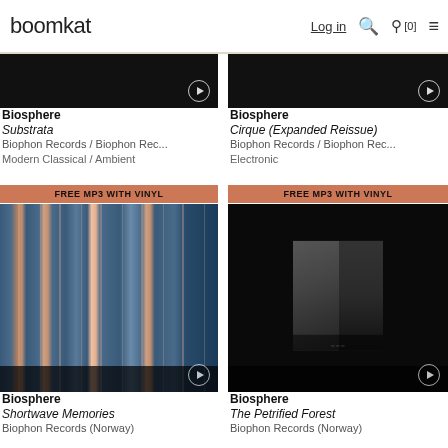boomkat  Log in  [0]
[Figure (photo): Partial album artwork thumbnail, dark/black, for Biosphere - Substrata]
Biosphere
Substrata
Biophon Records / Biophon Rec...
Modern Classical / Ambient
[Figure (photo): Partial album artwork thumbnail, dark/black, for Biosphere - Cirque (Expanded Reissue)]
Biosphere
Cirque (Expanded Reissue)
Biophon Records / Biophon Rec...
Electronic
FREE MP3 WITH VINYL
[Figure (photo): Album artwork for Biosphere - Shortwave Memories: colorful vertical stripes in blue and orange/pink tones]
Biosphere
Shortwave Memories
Biophon Records (Norway)
FREE MP3 WITH VINYL
[Figure (photo): Album artwork for Biosphere - The Petrified Forest: dark black background with small dimly lit photographic panels]
Biosphere
The Petrified Forest
Biophon Records (Norway)